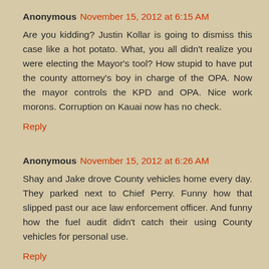Anonymous November 15, 2012 at 6:15 AM
Are you kidding? Justin Kollar is going to dismiss this case like a hot potato. What, you all didn't realize you were electing the Mayor's tool? How stupid to have put the county attorney's boy in charge of the OPA. Now the mayor controls the KPD and OPA. Nice work morons. Corruption on Kauai now has no check.
Reply
Anonymous November 15, 2012 at 6:26 AM
Shay and Jake drove County vehicles home every day. They parked next to Chief Perry. Funny how that slipped past our ace law enforcement officer. And funny how the fuel audit didn't catch their using County vehicles for personal use.
Reply
Anonymous November 15, 2012 at 6:00 AM